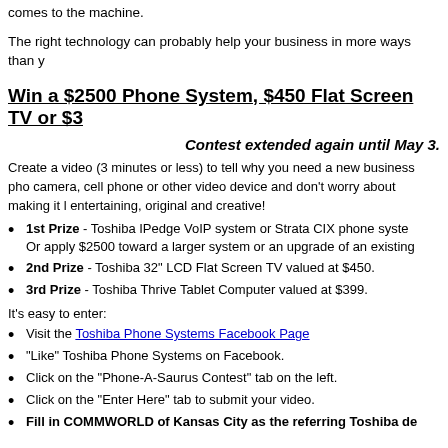comes to the machine.
The right technology can probably help your business in more ways than y
Win a $2500 Phone System, $450 Flat Screen TV or $3
Contest extended again until May 3.
Create a video (3 minutes or less) to tell why you need a new business phone system. Use a camera, cell phone or other video device and don't worry about making it look professional – just entertaining, original and creative!
1st Prize - Toshiba IPedge VoIP system or Strata CIX phone system valued at $2500. Or apply $2500 toward a larger system or an upgrade of an existing system.
2nd Prize - Toshiba 32" LCD Flat Screen TV valued at $450.
3rd Prize - Toshiba Thrive Tablet Computer valued at $399.
It's easy to enter:
Visit the Toshiba Phone Systems Facebook Page
"Like" Toshiba Phone Systems on Facebook.
Click on the "Phone-A-Saurus Contest" tab on the left.
Click on the "Enter Here" tab to submit your video.
Fill in COMMWORLD of Kansas City as the referring Toshiba de